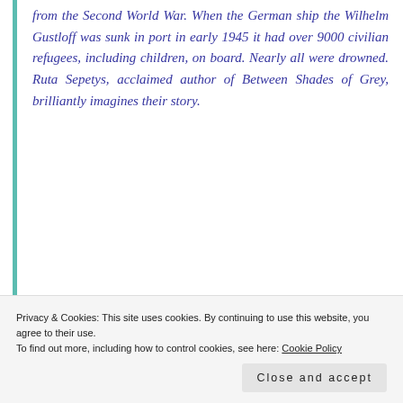from the Second World War. When the German ship the Wilhelm Gustloff was sunk in port in early 1945 it had over 9000 civilian refugees, including children, on board. Nearly all were drowned. Ruta Sepetys, acclaimed author of Between Shades of Grey, brilliantly imagines their story.
[Figure (screenshot): Advertisement banner with dark background: bonsai tree icon, text 'Launch your online course with WordPress', and 'Learn More' button.]
Privacy & Cookies: This site uses cookies. By continuing to use this website, you agree to their use.
To find out more, including how to control cookies, see here: Cookie Policy
Close and accept